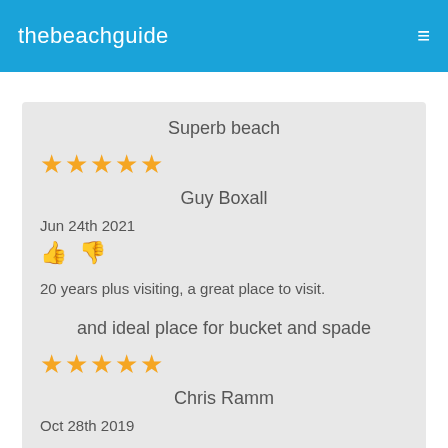thebeachguide
Superb beach
★★★★★
Guy Boxall
Jun 24th 2021
20 years plus visiting, a great place to visit.
and ideal place for bucket and spade
★★★★★
Chris Ramm
Oct 28th 2019